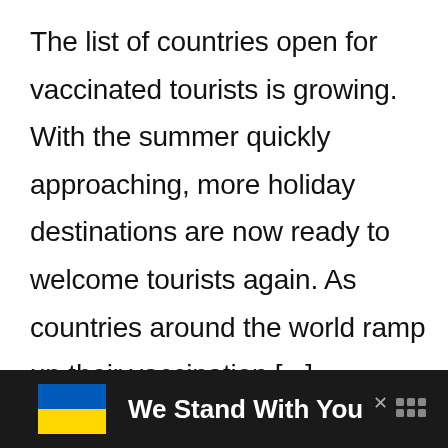The list of countries open for vaccinated tourists is growing. With the summer quickly approaching, more holiday destinations are now ready to welcome tourists again. As countries around the world ramp up their vaccination [...]
[Figure (infographic): Advertisement banner with Ukrainian flag (blue and yellow), text 'We Stand With You', close button X, and logo dots on dark background]